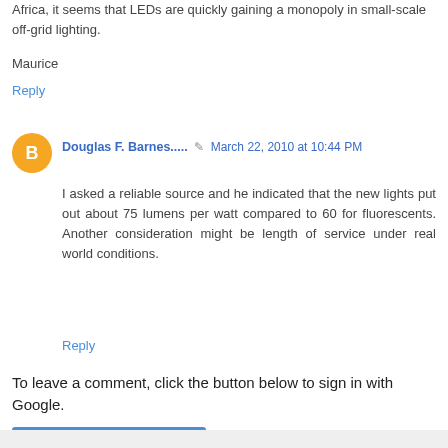Africa, it seems that LEDs are quickly gaining a monopoly in small-scale off-grid lighting.
Maurice
Reply
Douglas F. Barnes.....  March 22, 2010 at 10:44 PM
I asked a reliable source and he indicated that the new lights put out about 75 lumens per watt compared to 60 for fluorescents. Another consideration might be length of service under real world conditions.
Reply
To leave a comment, click the button below to sign in with Google.
SIGN IN WITH GOOGLE